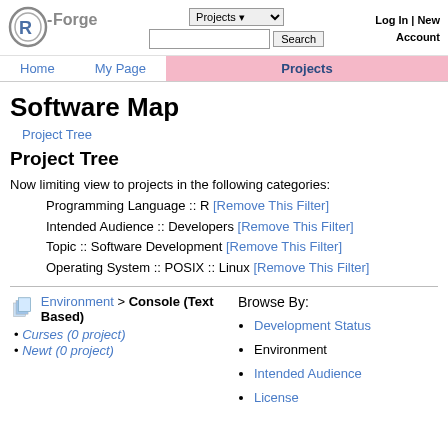[Figure (logo): R-Forge logo with R symbol and text]
Projects dropdown | Search box | Log In | New Account
Home   My Page   Projects
Software Map
Project Tree
Project Tree
Now limiting view to projects in the following categories:
    Programming Language :: R [Remove This Filter]
    Intended Audience :: Developers [Remove This Filter]
    Topic :: Software Development [Remove This Filter]
    Operating System :: POSIX :: Linux [Remove This Filter]
Browse By:
Environment > Console (Text Based)
Curses (0 project)
Newt (0 project)
Development Status
Environment
Intended Audience
License